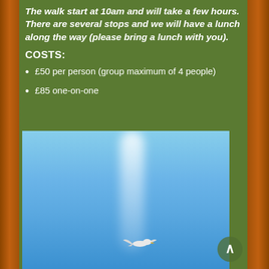The walk start at 10am and will take a few hours. There are several stops and we will have a lunch along the way (please bring a lunch with you).
COSTS:
£50 per person (group maximum of 4 people)
£85 one-on-one
[Figure (photo): A seagull in flight against a blue sky with a white light beam descending from the top center of the image]